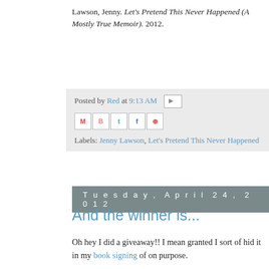Lawson, Jenny. Let's Pretend This Never Happened (A Mostly True Memoir). 2012.
Posted by Red at 9:13 AM
Labels: Jenny Lawson, Let's Pretend This Never Happened
Tuesday, April 24, 2012
And the winner is...
Oh hey I did a giveaway!! I mean granted I sort of hid it in my book signing of on purpose.
Who won a copy of Let's Pretend This Never Happened (A Mostly True Me... (aka The Bloggess)? Alice from Reading Rambo